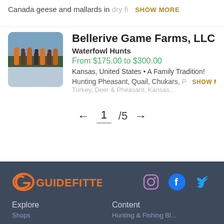Canada geese and mallards in dry fi... SHOW MORE
(truncated second line)
[Figure (photo): Group of hunters standing outdoors in winter/cold weather setting]
Bellerive Game Farms, LLC
Waterfowl Hunts
From $175.00 to $300.00
Kansas, United States • A Family Tradition!
Hunting Pheasant, Quail, Chukars, P... SHOW MORE
Turkey, Deer & Pheasant, Kansas ...
← 1 /5 →
GUIDEFITTER | Explore | Content | Hunting & Fishing Blog